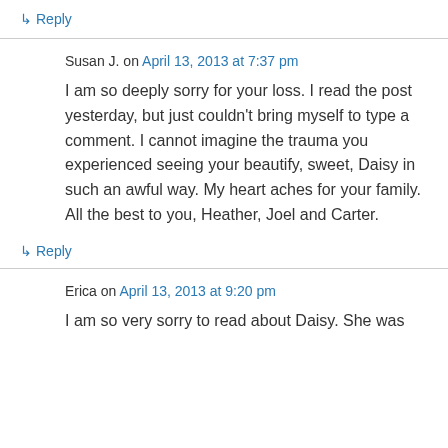↳ Reply
Susan J. on April 13, 2013 at 7:37 pm
I am so deeply sorry for your loss. I read the post yesterday, but just couldn't bring myself to type a comment. I cannot imagine the trauma you experienced seeing your beautify, sweet, Daisy in such an awful way. My heart aches for your family. All the best to you, Heather, Joel and Carter.
↳ Reply
Erica on April 13, 2013 at 9:20 pm
I am so very sorry to read about Daisy. She was